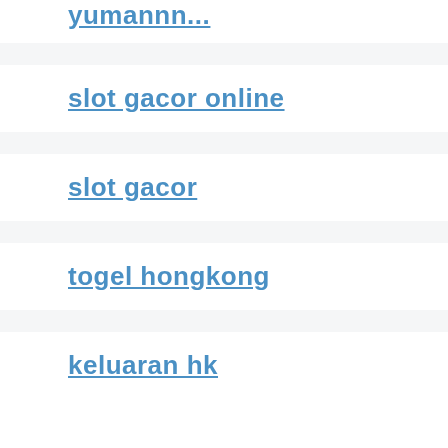[partial link at top]
slot gacor online
slot gacor
togel hongkong
keluaran hk